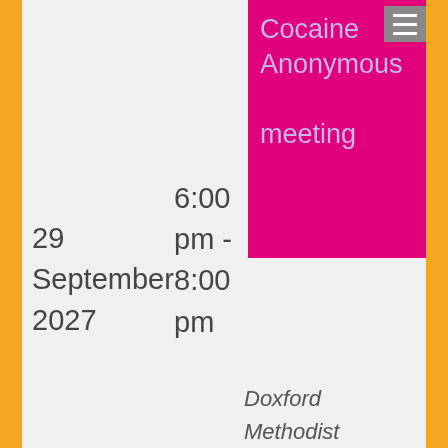Cocaine Anonymous meeting
29 September 2027
6:00 pm - 8:00 pm
Doxford Methodist Church, Cramlington
Cocaine Anonymous